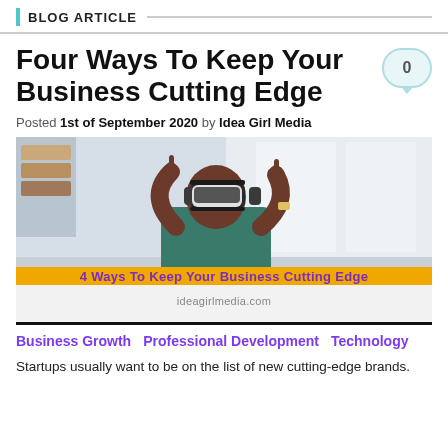BLOG ARTICLE
Four Ways To Keep Your Business Cutting Edge
Posted 1st of September 2020 by Idea Girl Media
[Figure (photo): A man wearing a VR headset with both hands raised pointing upward, in an office setting. Overlay text at bottom: '4 Ways To Keep Your Business Cutting Edge' and 'ideagirlmedia.com']
Business Growth   Professional Development   Technology
Startups usually want to be on the list of new cutting-edge brands.